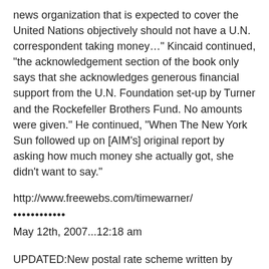news organization that is expected to cover the United Nations objectively should not have a U.N. correspondent taking money…" Kincaid continued, "the acknowledgement section of the book only says that she acknowledges generous financial support from the U.N. Foundation set-up by Turner and the Rockefeller Brothers Fund. No amounts were given." He continued, "When The New York Sun followed up on [AIM's] original report by asking how much money she actually got, she didn't want to say."
http://www.freewebs.com/timewarner/
••••••••••••
May 12th, 2007...12:18 am
UPDATED:New postal rate scheme written by Time Warner threatens existence of small magazines
This 30-40% rate increase for small magazines is yet another assault on the intent of the founding fathers and long-standing American tradition. It is also a blow to the small business man, to our literary and political discourse, and to freedom of speech. This will be the knockout punch to